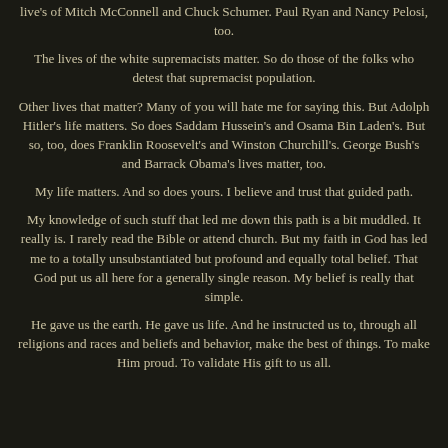live's of Mitch McConnell and Chuck Schumer. Paul Ryan and Nancy Pelosi, too.
The lives of the white supremacists matter. So do those of the folks who detest that supremacist population.
Other lives that matter? Many of you will hate me for saying this. But Adolph Hitler's life matters. So does Saddam Hussein's and Osama Bin Laden's. But so, too, does Franklin Roosevelt's and Winston Churchill's. George Bush's and Barrack Obama's lives matter, too.
My life matters. And so does yours. I believe and trust that guided path.
My knowledge of such stuff that led me down this path is a bit muddled. It really is. I rarely read the Bible or attend church. But my faith in God has led me to a totally unsubstantiated but profound and equally total belief. That God put us all here for a generally single reason. My belief is really that simple.
He gave us the earth. He gave us life. And he instructed us to, through all religions and races and beliefs and behavior, make the best of things. To make Him proud. To validate His gift to us all.